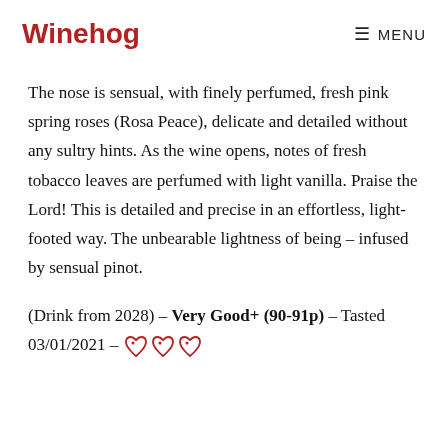Winehog  ≡ MENU
The nose is sensual, with finely perfumed, fresh pink spring roses (Rosa Peace), delicate and detailed without any sultry hints. As the wine opens, notes of fresh tobacco leaves are perfumed with light vanilla. Praise the Lord! This is detailed and precise in an effortless, light-footed way. The unbearable lightness of being – infused by sensual pinot.
(Drink from 2028) – Very Good+ (90-91p) – Tasted 03/01/2021 – ♡♡♡♡